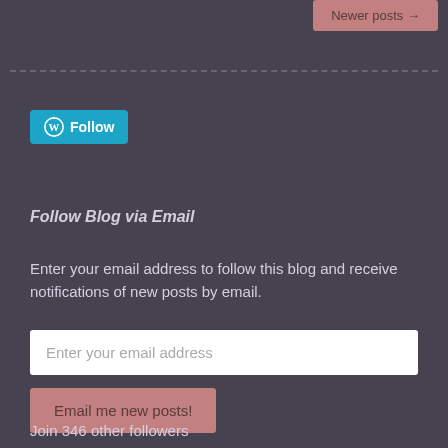Newer posts →
Follow Blog via Email
Enter your email address to follow this blog and receive notifications of new posts by email.
Enter your email address
Email me new posts!
Join 346 other followers